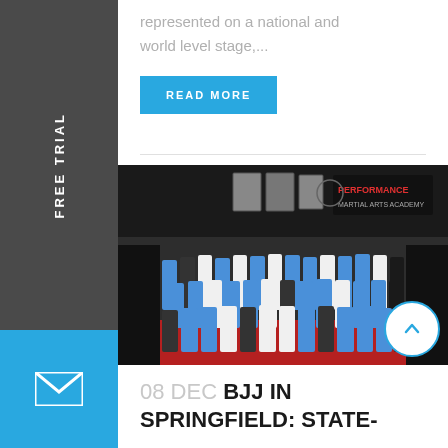represented on a national and world level stage,...
READ MORE
[Figure (photo): Group photo of martial arts students and instructors at Performance Martial Arts Academy, posed on red and black mats. A sign reading 'Performance Martial Arts Academy' is visible in the background along with framed portraits.]
08 DEC BJJ IN SPRINGFIELD: STATE-